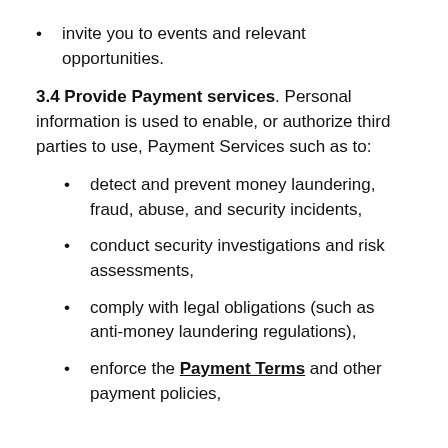invite you to events and relevant opportunities.
3.4 Provide Payment services. Personal information is used to enable, or authorize third parties to use, Payment Services such as to:
detect and prevent money laundering, fraud, abuse, and security incidents,
conduct security investigations and risk assessments,
comply with legal obligations (such as anti-money laundering regulations),
enforce the Payment Terms and other payment policies,